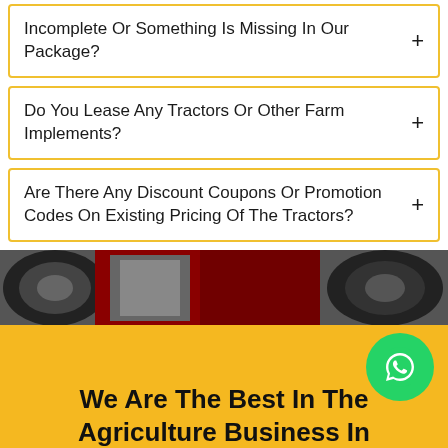Incomplete Or Something Is Missing In Our Package?
Do You Lease Any Tractors Or Other Farm Implements?
Are There Any Discount Coupons Or Promotion Codes On Existing Pricing Of The Tractors?
[Figure (photo): Tractor engine and tires close-up photo strip]
[Figure (logo): WhatsApp green circle button icon]
We Are The Best In The Agriculture Business In